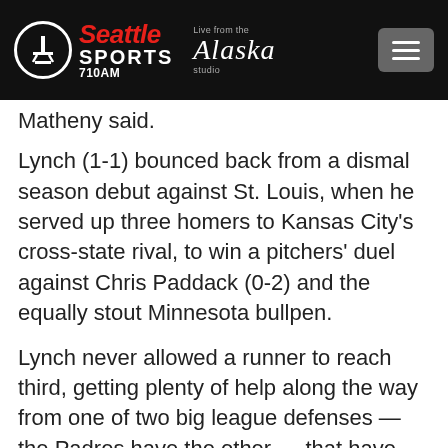[Figure (logo): Seattle Sports 710AM radio station header with Alaska Airlines 'Live from the Alaska studio' branding and hamburger menu button on dark background]
Matheny said.
Lynch (1-1) bounced back from a dismal season debut against St. Louis, when he served up three homers to Kansas City's cross-state rival, to win a pitchers' duel against Chris Paddack (0-2) and the equally stout Minnesota bullpen.
Lynch never allowed a runner to reach third, getting plenty of help along the way from one of two big league defenses — the Padres have the other — that have yet to